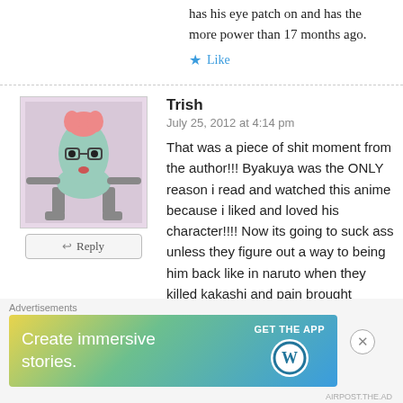has his eye patch on and has the more power than 17 months ago.
★ Like
Trish
July 25, 2012 at 4:14 pm
[Figure (illustration): Avatar illustration of a cartoon green alien-like character with pink hair, large eyes with glasses, and mechanical legs on a purple/lavender background]
↩ Reply
That was a piece of shit moment from the author!!! Byakuya was the ONLY reason i read and watched this anime because i liked and loved his character!!!! Now its going to suck ass unless they figure out a way to being him back like in naruto when they killed kakashi and pain brought everyone back to life in that final jutsu of his life… THEY CANNOT Kill BYAKUYA!!!!!!
Advertisements
[Figure (screenshot): WordPress advertisement banner: 'Create immersive stories. GET THE APP' with WordPress logo on gradient background (yellow to blue)]